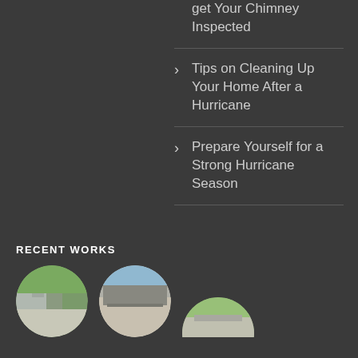get Your Chimney Inspected
Tips on Cleaning Up Your Home After a Hurricane
Prepare Yourself for a Strong Hurricane Season
RECENT WORKS
[Figure (photo): Three circular thumbnail photos showing recent works — roofing/exterior jobs]
[Figure (photo): Second circular thumbnail of recent work]
[Figure (photo): Third partial circular thumbnail of recent work at bottom]